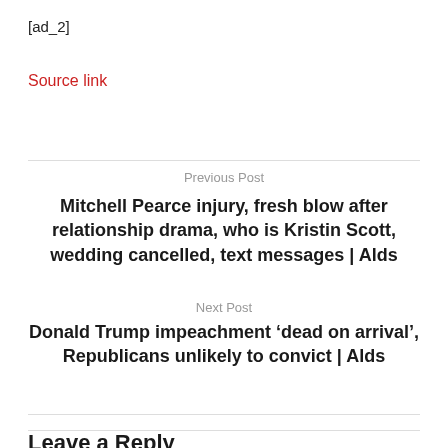[ad_2]
Source link
Previous Post
Mitchell Pearce injury, fresh blow after relationship drama, who is Kristin Scott, wedding cancelled, text messages | Alds
Next Post
Donald Trump impeachment ‘dead on arrival’, Republicans unlikely to convict | Alds
Leave a Reply